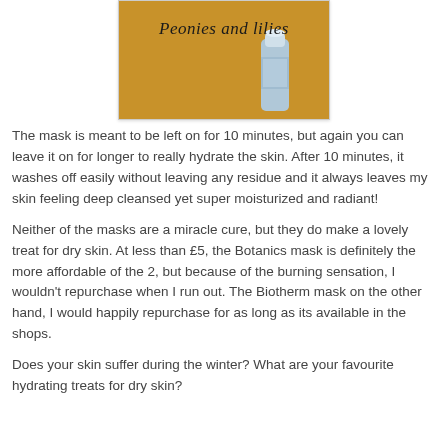[Figure (photo): Photo of a skincare product tube on a wooden/orange surface with the cursive text 'Peonies and lilies' overlaid]
The mask is meant to be left on for 10 minutes, but again you can leave it on for longer to really hydrate the skin. After 10 minutes, it washes off easily without leaving any residue and it always leaves my skin feeling deep cleansed yet super moisturized and radiant!
Neither of the masks are a miracle cure, but they do make a lovely treat for dry skin. At less than £5, the Botanics mask is definitely the more affordable of the 2, but because of the burning sensation, I wouldn't repurchase when I run out. The Biotherm mask on the other hand, I would happily repurchase for as long as its available in the shops.
Does your skin suffer during the winter? What are your favourite hydrating treats for dry skin?